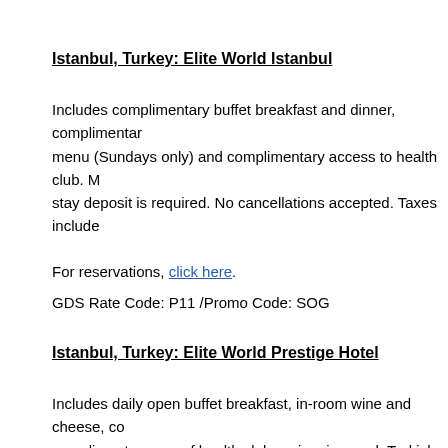Istanbul, Turkey: Elite World Istanbul
Includes complimentary buffet breakfast and dinner, complimentary menu (Sundays only) and complimentary access to health club. M... stay deposit is required. No cancellations accepted. Taxes include...
For reservations, click here.
GDS Rate Code: P11 /Promo Code: SOG
Istanbul, Turkey: Elite World Prestige Hotel
Includes daily open buffet breakfast, in-room wine and cheese, co... complimentary use of health club, swimming pool, Turkish bath, sa... three-night stay.  Taxes included. Valid until December 31, 2013.